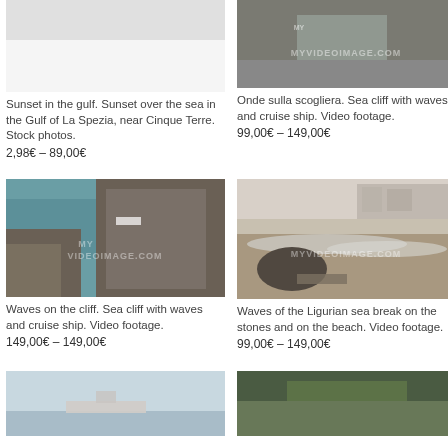[Figure (photo): Partial view of sunset over the sea in the Gulf of La Spezia, near Cinque Terre. Stock photo, mostly white/cropped at top.]
Sunset in the gulf. Sunset over the sea in the Gulf of La Spezia, near Cinque Terre. Stock photos.
2,98€ – 89,00€
[Figure (photo): Sea cliff with waves and cruise ship. Rocky cliff with watermark MYVIDEOIMAGE.COM.]
Onde sulla scogliera. Sea cliff with waves and cruise ship. Video footage.
99,00€ – 149,00€
[Figure (photo): Waves on the cliff. Sea cliff with waves and cruise ship, rocky foreground with teal sea and ship in background. Watermark MYVIDEOIMAGE.COM.]
Waves on the cliff. Sea cliff with waves and cruise ship. Video footage.
149,00€ – 149,00€
[Figure (photo): Waves of the Ligurian sea breaking on stones and beach. Rocky beach scene with surf. Watermark MYVIDEOIMAGE.COM.]
Waves of the Ligurian sea break on the stones and on the beach. Video footage.
99,00€ – 149,00€
[Figure (photo): Partial bottom image: ship in hazy sea, light blue sky.]
[Figure (photo): Partial bottom image: rocky green cliff coastline.]